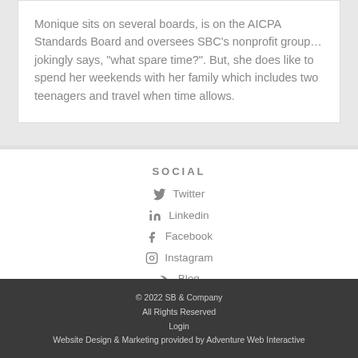Monique sits on several boards, is on the AICPA Standards Board and oversees SBC's nonprofit group…jokingly says, "what spare time?". But, she does like to spend her weekends with her family which includes two teenagers and travel when time allows.
SOCIAL
Twitter
Linkedin
Facebook
Instagram
Blog
© 2022 SB & Company
All Rights Reserved
Login
Website Design & Marketing provided by Adventure Web Interactive